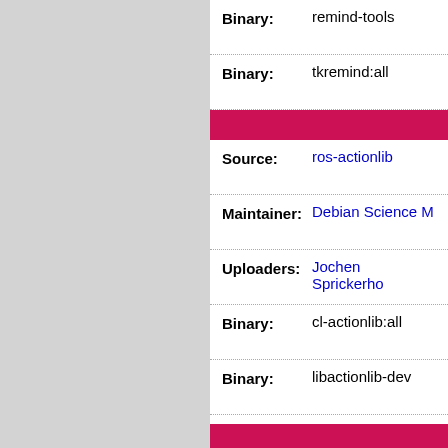| Field | Value |
| --- | --- |
| Binary: | remind-tools |
| Binary: | tkremind:all |
| Source: | ros-actionlib |
| Maintainer: | Debian Science M... |
| Uploaders: | Jochen Sprickerho... |
| Binary: | cl-actionlib:all |
| Binary: | libactionlib-dev |
| Binary: | libactionlib1d |
| Binary: | python3-actionlib:... |
| Binary: | python3-actionlib-tools:all |